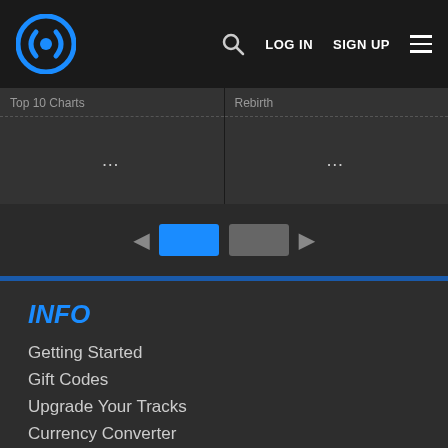LOG IN  SIGN UP
Top 10 Charts  ...
Rebirth  ...
◄  [page 1]  [page 2]  ►
INFO
Getting Started
Gift Codes
Upgrade Your Tracks
Currency Converter
About Traxsource
Create and Share Charts
Help and Support